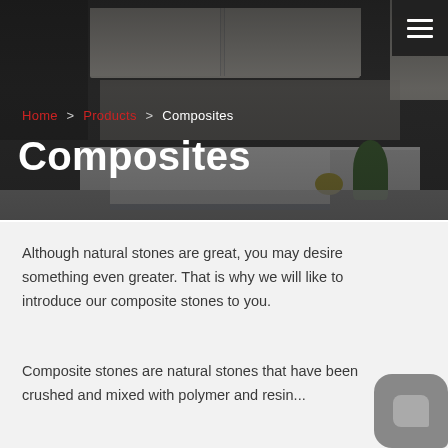[Figure (photo): Dark-overlay kitchen photo showing white cabinets, island with navy base, plant, and fruit bowl]
Home > Products > Composites
Composites
Although natural stones are great, you may desire something even greater. That is why we will like to introduce our composite stones to you.
Composite stones are natural stones that have been crushed and mixed with polymer and resin...